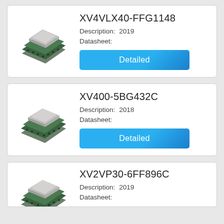[Figure (photo): FPGA chip photo for XV4VLX40-FFG1148]
XV4VLX40-FFG1148
Description:  2019
Datasheet:
Detailed
[Figure (photo): FPGA chip photo for XV400-5BG432C]
XV400-5BG432C
Description:  2018
Datasheet:
Detailed
[Figure (photo): FPGA chip photo for XV2VP30-6FF896C]
XV2VP30-6FF896C
Description:  2019
Datasheet: